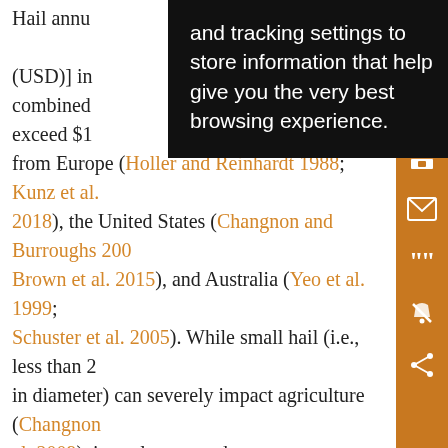Hail annu[al losses in billions of dollars (USD)] in [several regions of the world, combined] exceed $1[billion, based on studies] from Europe (Holler and Reinhardt 1988; Kunz et al. 2018), the United States (Changnon and Burroughs 200[3]; Brown et al. 2015), and Australia (Yeo et al. 1999; Schuster et al. 2005). While small hail (i.e., less than 2 [cm] in diameter) can severely impact agriculture (Changnon [et] al. 2009), it rarely causes damage to property. To addre[ss] the risk hail poses to property, it is necessary to look specifically at the occurrence of larger hail. Unfortunately, there is a lack of temporally and spatially homogeneous records of large hail over Europe. Most climatological studies about hail over Europe (see the recent review by Punge and Kunz 2016) do not concern
[Figure (screenshot): Browser tooltip/overlay with text: 'and tracking settings to store information that help give you the very best browsing experience.' on dark background]